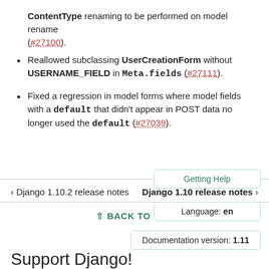ContentType renaming to be performed on model rename (#27100).
Reallowed subclassing UserCreationForm without USERNAME_FIELD in Meta.fields (#27111).
Fixed a regression in model forms where model fields with a default that didn't appear in POST data no longer used the default (#27039).
< Django 1.10.2 release notes   Django 1.10 release notes >
^ BACK TO TOP
Getting Help
Language: en
Documentation version: 1.11
Support Django!